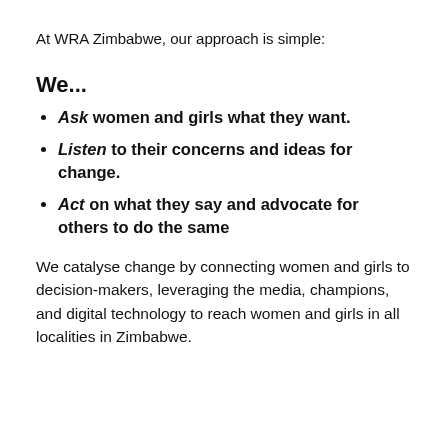At WRA Zimbabwe, our approach is simple:
We...
Ask women and girls what they want.
Listen to their concerns and ideas for change.
Act on what they say and advocate for others to do the same
We catalyse change by connecting women and girls to decision-makers, leveraging the media, champions, and digital technology to reach women and girls in all localities in Zimbabwe.